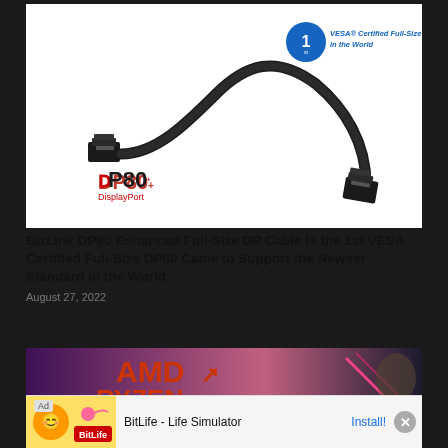[Figure (photo): Black DisplayPort 80 cable with two DP connectors on a white background. Upper right has a '1st' badge with text 'VESA Certified Full-Size DP80 Cable in the World'. Lower left shows 'DP80 DisplayPort' logo in red.]
BizLink DP80 Enhanced Full-Size DP Cable Is the 1st VESA Certified Full-Size DP80 Cable to Support the Newest Standard in the World
August 27, 2022
[Figure (photo): Partial view of AMD Ryzen presentation with AMD logo and Ryzen text visible against purple/pink background with neon lighting, with a partially visible person on right.]
[Figure (other): Advertisement bar: BitLife - Life Simulator app ad with Install button and close X button. Shows ad icon with emoji and BitLife branding on yellow background.]